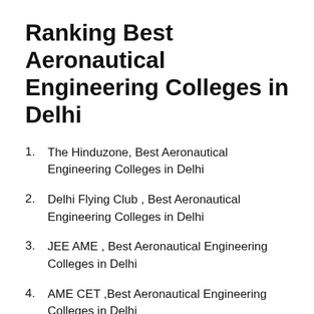Ranking Best Aeronautical Engineering Colleges in Delhi
The Hinduzone, Best Aeronautical Engineering Colleges in Delhi
Delhi Flying Club , Best Aeronautical Engineering Colleges in Delhi
JEE AME , Best Aeronautical Engineering Colleges in Delhi
AME CET ,Best Aeronautical Engineering Colleges in Delhi